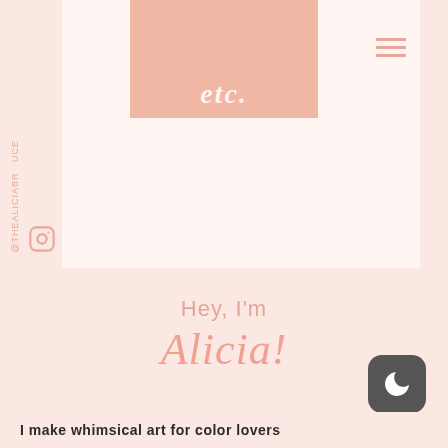[Figure (screenshot): Website screenshot showing a lifestyle/art blog homepage for Alicia Bruce. Top section has a white background with a salmon/peach hero image block containing cursive white text, a hamburger menu icon top right, and a vertical Instagram handle '@THEALICIABR UCE' on the left side with an Instagram icon. Bottom peach section shows 'Hey, I’m' in light pink with 'Alicia!' in larger italic peach cursive font. A dark mode toggle button (moon icon) appears bottom right. The bottom strip shows beginning of tagline text.]
@THEALICIABR UCE
Hey, I'm
Alicia!
I make whimsical art for color lovers